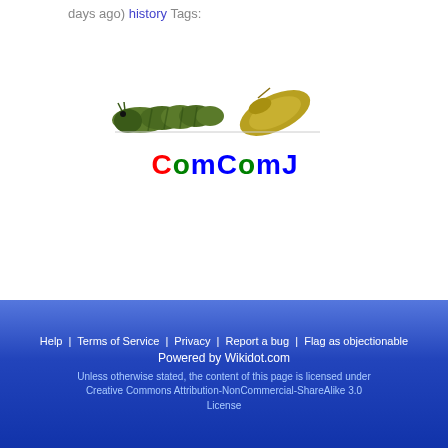days ago) history Tags:
[Figure (logo): ComComJ logo with caterpillar image above colorful text 'ComComJ']
~~Page's End!~~
Ignore ads by installing ublock.
Edit   Tags
History   Files
+ Options
Help | Terms of Service | Privacy | Report a bug | Flag as objectionable
Powered by Wikidot.com
Unless otherwise stated, the content of this page is licensed under Creative Commons Attribution-NonCommercial-ShareAlike 3.0 License